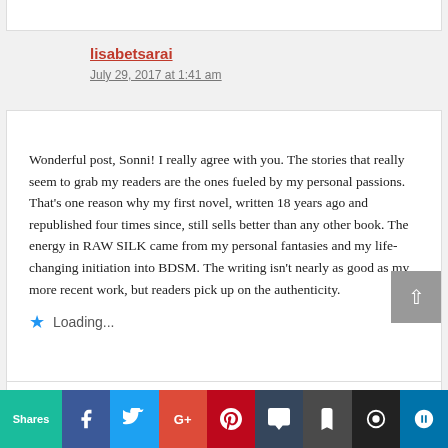lisabetsarai
July 29, 2017 at 1:41 am
Wonderful post, Sonni! I really agree with you. The stories that really seem to grab my readers are the ones fueled by my personal passions. That’s one reason why my first novel, written 18 years ago and republished four times since, still sells better than any other book. The energy in RAW SILK came from my personal fantasies and my life-changing initiation into BDSM. The writing isn’t nearly as good as my more recent work, but readers pick up on the authenticity.
Loading...